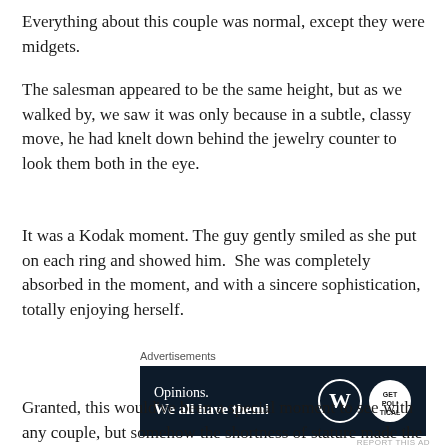Everything about this couple was normal, except they were midgets.
The salesman appeared to be the same height, but as we walked by, we saw it was only because in a subtle, classy move, he had knelt down behind the jewelry counter to look them both in the eye.
It was a Kodak moment. The guy gently smiled as she put on each ring and showed him.  She was completely absorbed in the moment, and with a sincere sophistication, totally enjoying herself.
[Figure (screenshot): Advertisement banner with dark navy background. Text reads 'Opinions. We all have them!' with WordPress logo and another circular logo on the right.]
Granted, this would've been a special moment to see with any couple, but somehow the shortness of stature made the